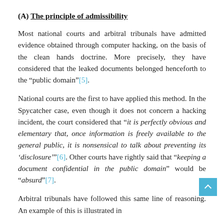(A) The principle of admissibility
Most national courts and arbitral tribunals have admitted evidence obtained through computer hacking, on the basis of the clean hands doctrine. More precisely, they have considered that the leaked documents belonged henceforth to the "public domain"[5].
National courts are the first to have applied this method. In the Spycatcher case, even though it does not concern a hacking incident, the court considered that "it is perfectly obvious and elementary that, once information is freely available to the general public, it is nonsensical to talk about preventing its ‘disclosure’"[6]. Other courts have rightly said that "keeping a document confidential in the public domain" would be "absurd"[7].
Arbitral tribunals have followed this same line of reasoning. An example of this is illustrated in